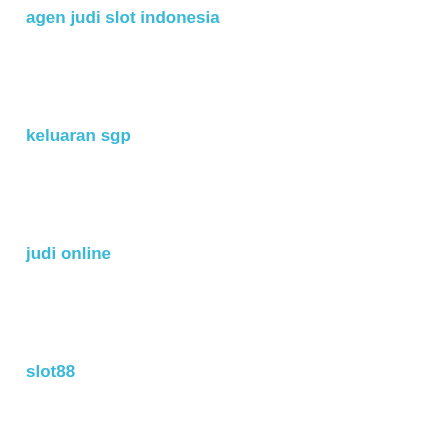agen judi slot indonesia
keluaran sgp
judi online
slot88